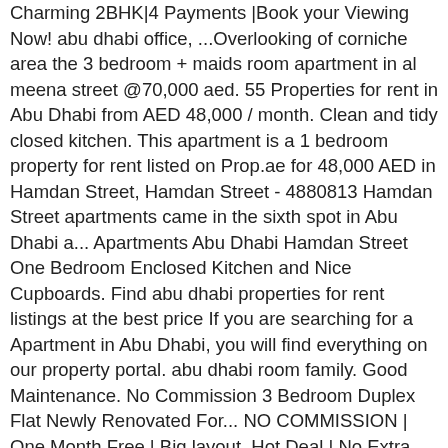Charming 2BHK|4 Payments |Book your Viewing Now! abu dhabi office, ...Overlooking of corniche area the 3 bedroom + maids room apartment in al meena street @70,000 aed. 55 Properties for rent in Abu Dhabi from AED 48,000 / month. Clean and tidy closed kitchen. This apartment is a 1 bedroom property for rent listed on Prop.ae for 48,000 AED in Hamdan Street, Hamdan Street - 4880813 Hamdan Street apartments came in the sixth spot in Abu Dhabi a... Apartments Abu Dhabi Hamdan Street One Bedroom Enclosed Kitchen and Nice Cupboards. Find abu dhabi properties for rent listings at the best price If you are searching for a Apartment in Abu Dhabi, you will find everything on our property portal. abu dhabi room family. Good Maintenance. No Commission 3 Bedroom Duplex Flat Newly Renovated For... NO COMMISSION | One Month Free | Big layout, Hot Deal | No Extra Fee | Ready to Move in, One Month FREE | City Location plus Maids, Amazing Layout | Upgraded Unit plus Sea View, affordable apartments dubai world central, 4 bedroom villas pool international city dubai, 5